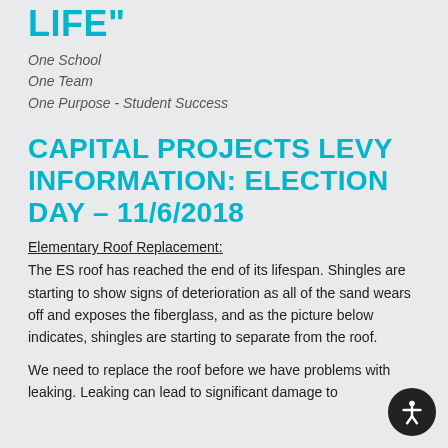LIFE"
One School
One Team
One Purpose - Student Success
CAPITAL PROJECTS LEVY INFORMATION: ELECTION DAY – 11/6/2018
Elementary Roof Replacement:
The ES roof has reached the end of its lifespan. Shingles are starting to show signs of deterioration as all of the sand wears off and exposes the fiberglass, and as the picture below indicates, shingles are starting to separate from the roof.
We need to replace the roof before we have problems with leaking. Leaking can lead to significant damage to